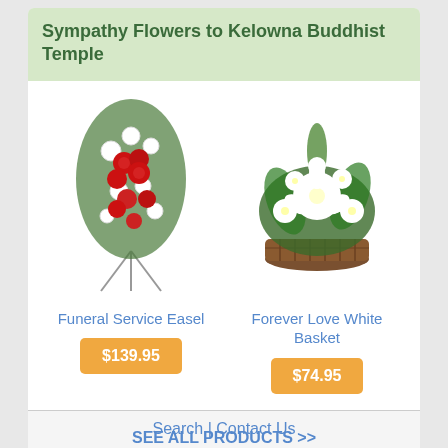Sympathy Flowers to Kelowna Buddhist Temple
[Figure (illustration): Funeral Service Easel — a tall standing easel floral arrangement with red roses and white flowers on a tripod stand]
Funeral Service Easel
$139.95
[Figure (illustration): Forever Love White Basket — a basket arrangement with white lilies and white roses surrounded by green foliage]
Forever Love White Basket
$74.95
SEE ALL PRODUCTS >>
Search | Contact Us